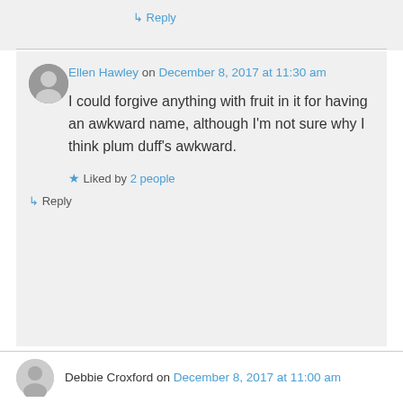↳ Reply
Ellen Hawley on December 8, 2017 at 11:30 am
I could forgive anything with fruit in it for having an awkward name, although I'm not sure why I think plum duff's awkward.
★ Liked by 2 people
↳ Reply
Debbie Croxford on December 8, 2017 at 11:00 am